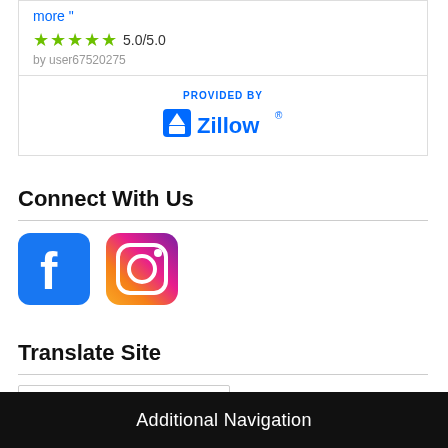more "
[Figure (other): 5 green stars rating: 5.0/5.0 by user67520275, followed by Zillow logo with 'PROVIDED BY' label]
Connect With Us
[Figure (other): Facebook and Instagram social media icons]
Translate Site
[Figure (other): Google Translate widget with 'Select Language' dropdown]
Additional Navigation